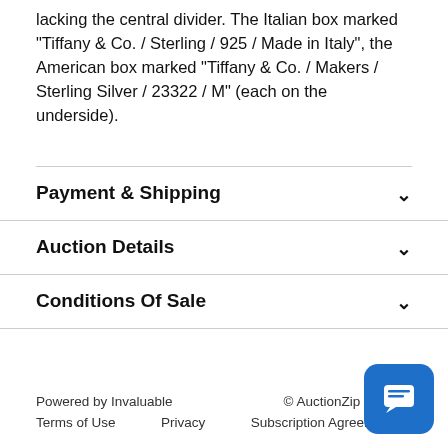lacking the central divider. The Italian box marked "Tiffany & Co. / Sterling / 925 / Made in Italy", the American box marked "Tiffany & Co. / Makers / Sterling Silver / 23322 / M" (each on the underside).
Payment & Shipping
Auction Details
Conditions Of Sale
Powered by Invaluable   © AuctionZip 2022   Terms of Use   Privacy   Subscription Agreement